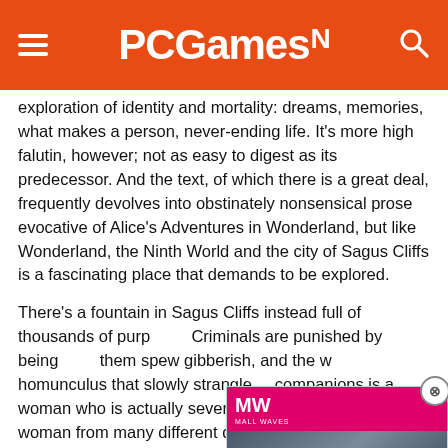PCGamesN
exploration of identity and mortality: dreams, memories, what makes a person, never-ending life. It’s more high falutin, however; not as easy to digest as its predecessor. And the text, of which there is a great deal, frequently devolves into obstinately nonsensical prose evocative of Alice’s Adventures in Wonderland, but like Wonderland, the Ninth World and the city of Sagus Cliffs is a fascinating place that demands to be explored.
There’s a fountain in Sagus Cliffs instead full of thousands of purp… Criminals are punished by being… them spew gibberish, and the w… homunculus that slowly strangle… companions is a woman who is actually several versions of the same woman from many different dimensions. Another companion is a man covered in living tattoos. The guards of Sagus Cliffs are constructs that exist only for a single year,
[Figure (screenshot): Ad overlay for MalWaves website showing dragon games video with play button and text BEST DRAGON GAMES]